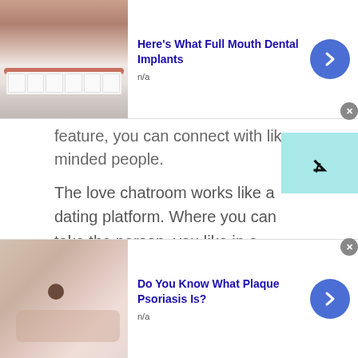[Figure (screenshot): Top advertisement banner with dental implants image showing teeth, ad title 'Here's What Full Mouth Dental Implants', n/a label, blue arrow button, and close button]
feature, you can connect with like minded people.
The love chatroom works like a dating platform. Where you can take the person, you like in a different chatroom. At first there are public chatrooms, after the public chatroom you can take your loved one to a separate love chatroom. The purpose of love chatrooms is to bring hearts together. Further, this chatroom is very much helpful to the people who are either introverted by nature or feel shy to talk to another gender.
[Figure (screenshot): Bottom advertisement banner with plaque psoriasis image, ad title 'Do You Know What Plaque Psoriasis Is?', n/a label, blue arrow button, and close button]